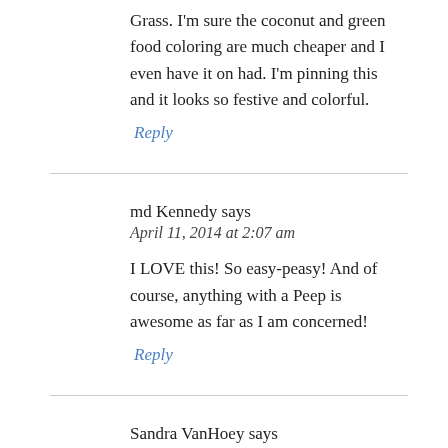Grass. I'm sure the coconut and green food coloring are much cheaper and I even have it on had. I'm pinning this and it looks so festive and colorful.
Reply
md Kennedy says
April 11, 2014 at 2:07 am
I LOVE this! So easy-peasy! And of course, anything with a Peep is awesome as far as I am concerned!
Reply
Sandra VanHoey says
April 11, 2014 at 4:18 am